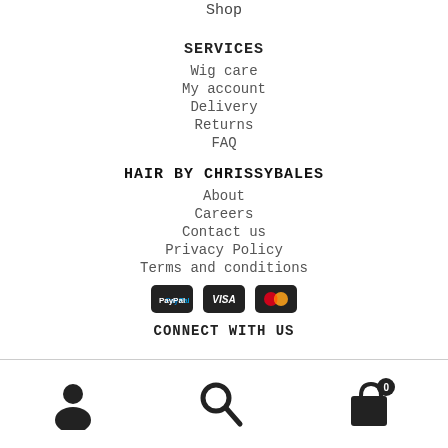Shop
SERVICES
Wig care
My account
Delivery
Returns
FAQ
HAIR BY CHRISSYBALES
About
Careers
Contact us
Privacy Policy
Terms and conditions
[Figure (logo): Payment method icons: PayPal, VISA, Mastercard on dark rounded rectangles]
CONNECT WITH US
[Figure (infographic): Bottom navigation bar with user/account icon, search icon, and shopping bag icon with badge showing 0]